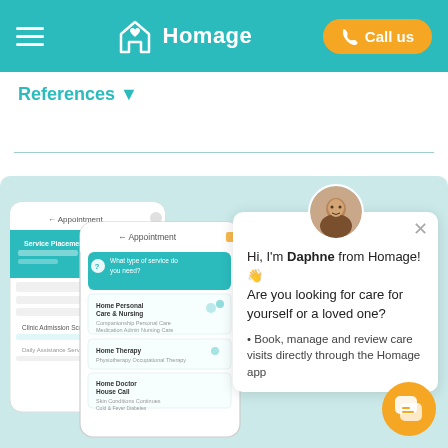Homage — Call us
References ▼
[Figure (screenshot): Homage mobile app screenshots showing appointment booking interface with home personal care, nursing, and therapy service options]
Hi, I'm Daphne from Homage! 👋 Are you looking for care for yourself or a loved one?
Book, manage and review care visits directly through the Homage app